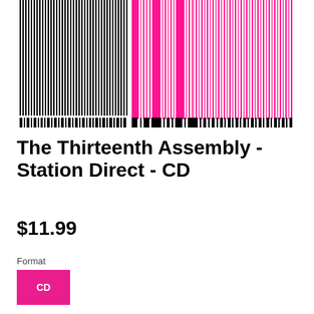[Figure (illustration): Abstract barcode-style artwork with vertical black and white stripes on the left half transitioning to pink/magenta and white stripes on the right half, with a row of thick black bars along the bottom.]
The Thirteenth Assembly - Station Direct - CD
$11.99
Format
CD